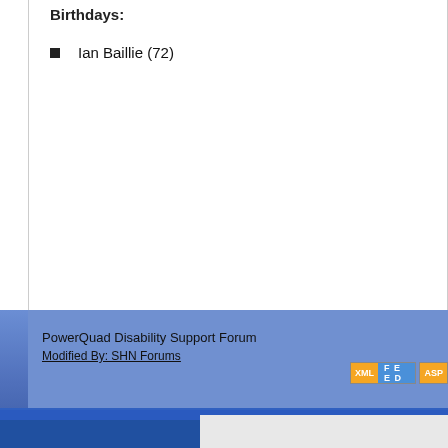Birthdays:
Ian Baillie (72)
PowerQuad Disability Support Forum
Modified By: SHN Forums